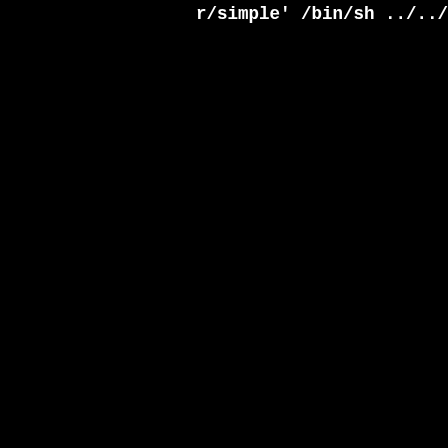[Figure (screenshot): Terminal/console output showing a compiler/linker command (libtool link command with gcc flags and library options) on a black background with white monospace text. The left portion of the image is black (no content). The right portion shows truncated command-line output lines.]